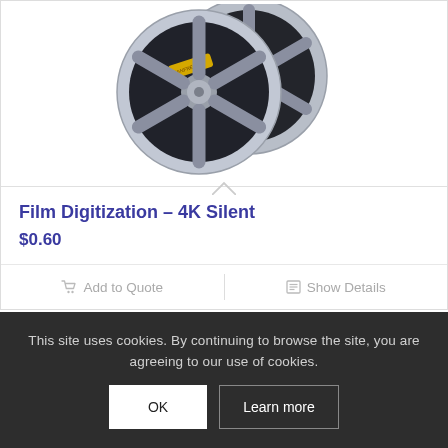[Figure (photo): Two film reels (gray plastic, 16mm or 8mm format) overlapping, one in foreground and one behind, on white background. Yellow label visible on reel.]
Film Digitization – 4K Silent
$0.60
Add to Quote
Show Details
This site uses cookies. By continuing to browse the site, you are agreeing to our use of cookies.
OK
Learn more